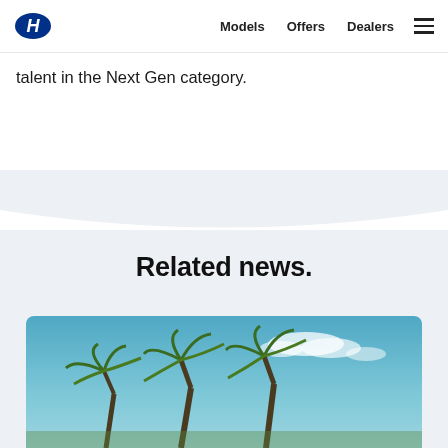Models  Offers  Dealers
talent in the Next Gen category.
Related news.
[Figure (photo): Outdoor photo showing palm trees against a blue sky with scattered white clouds]